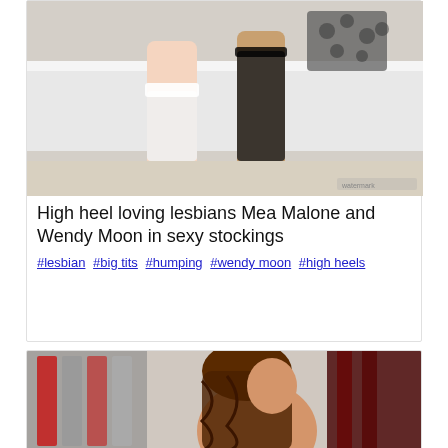[Figure (photo): Partial view of two women's legs wearing stockings and high heels near a white couch]
High heel loving lesbians Mea Malone and Wendy Moon in sexy stockings
#lesbian #big tits #humping #wendy moon #high heels
[Figure (photo): Partial view of a woman with long brunette hair standing near bookshelves]